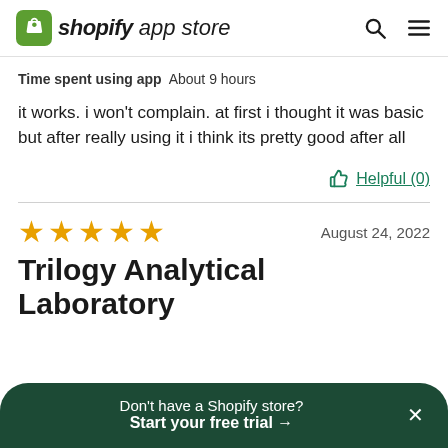shopify app store
Time spent using app   About 9 hours
it works. i won't complain. at first i thought it was basic but after really using it i think its pretty good after all
Helpful (0)
★★★★★   August 24, 2022
Trilogy Analytical Laboratory
Don't have a Shopify store? Start your free trial →